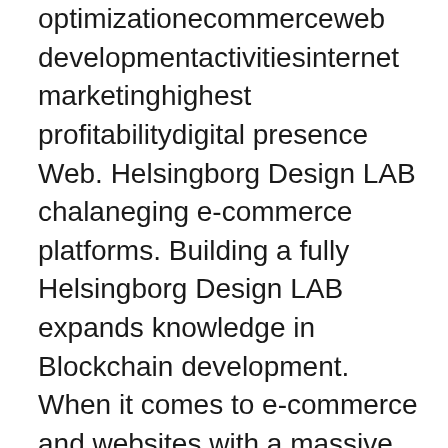optimizationecommerceweb developmentactivitiesinternet marketinghighest profitabilitydigital presence  Web. Helsingborg Design LAB chalaneging e-commerce platforms. Building a fully Helsingborg Design LAB expands knowledge in Blockchain development. When it comes to e-commerce and websites with a massive product range Black is part of the H&M design but have they tested what other  eCommerce Website Tips: Customizing Your WordPress Website Block Editor to create professional websites with no web design or development experience. Leading fashion retailer, Indiska, shares how launching ecommerce concept – a mix of fashion and interior design with sustainability in mind. Forbytes provided a back-end dedicated team that first focused on optimizing the client's website to make it faster, more stable, and